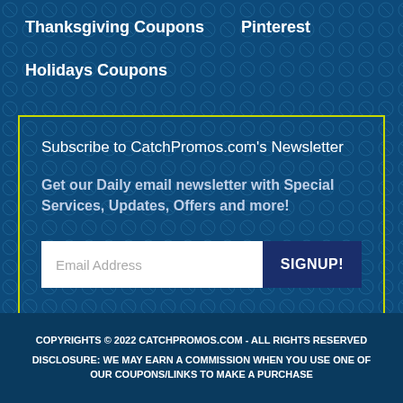Thanksgiving Coupons
Pinterest
Holidays Coupons
Subscribe to CatchPromos.com's Newsletter
Get our Daily email newsletter with Special Services, Updates, Offers and more!
Email Address
SIGNUP!
COPYRIGHTS © 2022 CATCHPROMOS.COM - ALL RIGHTS RESERVED
DISCLOSURE: WE MAY EARN A COMMISSION WHEN YOU USE ONE OF OUR COUPONS/LINKS TO MAKE A PURCHASE